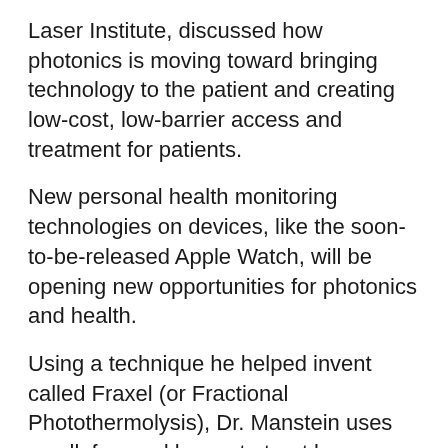Laser Institute, discussed how photonics is moving toward bringing technology to the patient and creating low-cost, low-barrier access and treatment for patients.
New personal health monitoring technologies on devices, like the soon-to-be-released Apple Watch, will be opening new opportunities for photonics and health.
Using a technique he helped invent called Fraxel (or Fractional Photothermolysis), Dr. Manstein uses small, focused lasers to treat burn scars, remove unwanted fat and more. In the future, he hopes that his laser technology could regenerate tissue in vital organs like the heart and liver.
Morris shared how he bucked conventional wisdom and created thriving businesses in photonics; he developed more than 2,000 products, which included creating spectrometers – devices that can detect, record and measure spectral lines and measure their...